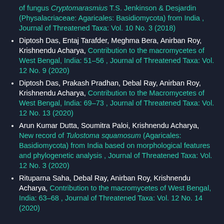of fungus Cryptomarasmius T.S. Jenkinson & Desjardin (Physalacriaceae: Agaricales: Basidiomycota) from India , Journal of Threatened Taxa: Vol. 10 No. 3 (2018)
Diptosh Das, Entaj Tarafder, Meghma Bera, Anirban Roy, Krishnendu Acharya, Contribution to the macromycetes of West Bengal, India: 51–56 , Journal of Threatened Taxa: Vol. 12 No. 9 (2020)
Diptosh Das, Prakash Pradhan, Debal Ray, Anirban Roy, Krishnendu Acharya, Contribution to the Macromycetes of West Bengal, India: 69–73 , Journal of Threatened Taxa: Vol. 12 No. 13 (2020)
Arun Kumar Dutta, Soumitra Paloi, Krishnendu Acharya, New record of Tulostoma squamosum (Agaricales: Basidiomycota) from India based on morphological features and phylogenetic analysis , Journal of Threatened Taxa: Vol. 12 No. 3 (2020)
Rituparna Saha, Debal Ray, Anirban Roy, Krishnendu Acharya, Contribution to the macromycetes of West Bengal, India: 63–68 , Journal of Threatened Taxa: Vol. 12 No. 14 (2020)